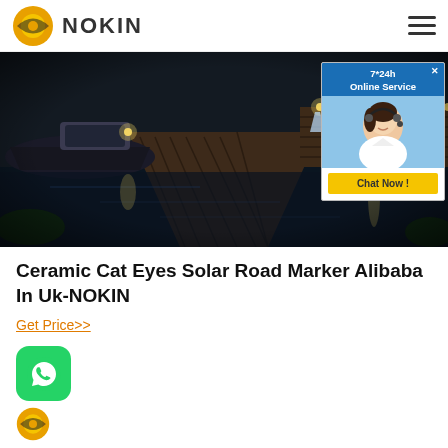NOKIN
[Figure (photo): Nighttime photo of a wooden dock/pier extending over dark water with a boat docked alongside, lit by warm lights. A blue online chat widget overlay with agent photo and 'Chat Now!' button appears in the top right corner.]
Ceramic Cat Eyes Solar Road Marker Alibaba In Uk-NOKIN
Get Price>>
[Figure (logo): WhatsApp green rounded square icon with phone handset symbol]
[Figure (logo): NOKIN logo - partial view at bottom of page]